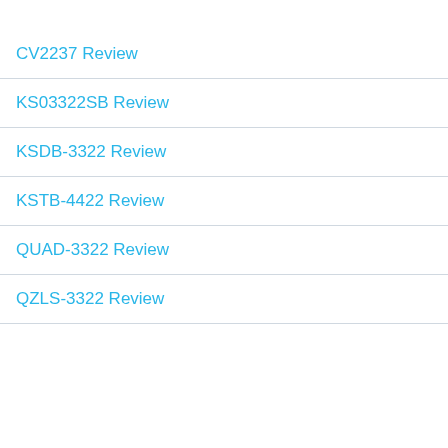CV2237 Review
KS03322SB Review
KSDB-3322 Review
KSTB-4422 Review
QUAD-3322 Review
QZLS-3322 Review